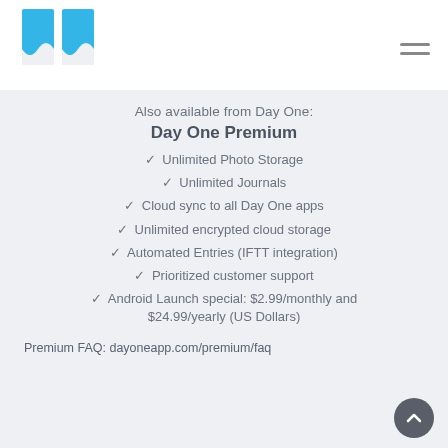[Figure (logo): Day One app logo — blue bookmark/book icon on white header background]
Also available from Day One:
Day One Premium
✓ Unlimited Photo Storage
✓ Unlimited Journals
✓ Cloud sync to all Day One apps
✓ Unlimited encrypted cloud storage
✓ Automated Entries (IFTT integration)
✓ Prioritized customer support
✓ Android Launch special: $2.99/monthly and $24.99/yearly (US Dollars)
Premium FAQ: dayoneapp.com/premium/faq